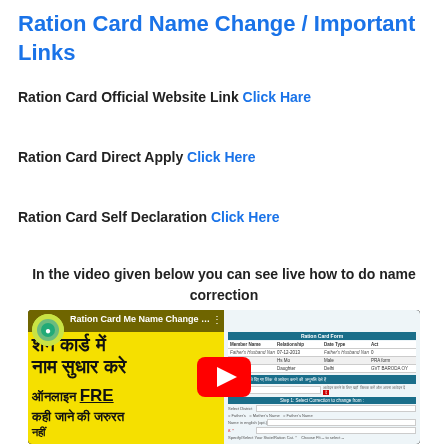Ration Card Name Change / Important Links
Ration Card Official Website Link Click Hare
Ration Card Direct Apply Click Here
Ration Card Self Declaration Click Here
In the video given below you can see live how to do name correction
[Figure (screenshot): YouTube video thumbnail showing a ration card name change tutorial. Left half has yellow background with Hindi text (राशन कार्ड में नाम सुधार करे, ऑनलाइन FREE, कही जाने की जरुरत नहीं) and a YouTube play button overlay. Right half shows a government ration card form/table interface. Title bar reads: Ration Card Me Name Change Kai...]